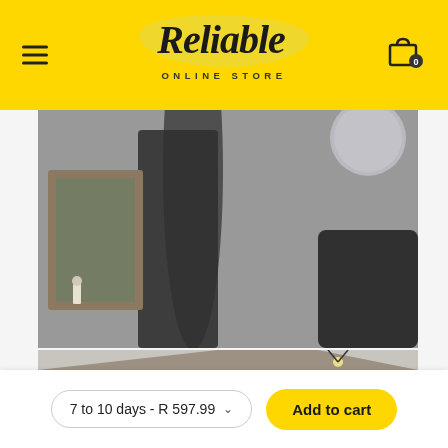Reliable Online Store — navigation header with hamburger menu and cart icon (0 items)
[Figure (photo): Blurry interior room photo showing dark lamp, framed picture on wall, and a round mirror or light fixture in the upper right corner, against a grey wall]
[Figure (photo): Partial photo of a pendant lamp with a dark conical shade and visible light bulb, hanging against a light grey background]
7 to 10 days - R 597.99
Add to cart